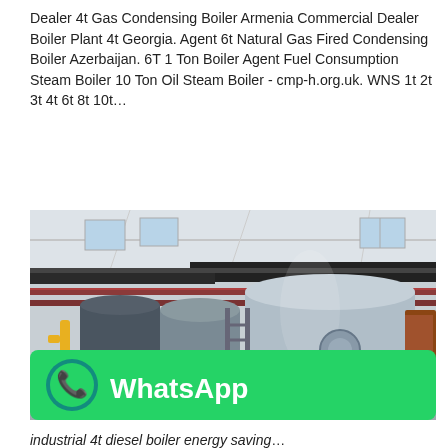Dealer 4t Gas Condensing Boiler Armenia Commercial Dealer Boiler Plant 4t Georgia. Agent 6t Natural Gas Fired Condensing Boiler Azerbaijan. 6T 1 Ton Boiler Agent Fuel Consumption Steam Boiler 10 Ton Oil Steam Boiler - cmp-h.org.uk. WNS 1t 2t 3t 4t 6t 8t 10t...
[Figure (photo): Industrial boiler room with large cylindrical gas boilers, pipes overhead, metal walkway/ladder, and a WhatsApp promotional banner overlaid at the bottom.]
industrial 4t diesel boiler energy saving...